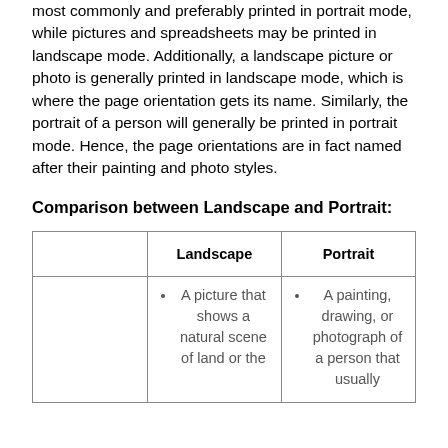most commonly and preferably printed in portrait mode, while pictures and spreadsheets may be printed in landscape mode. Additionally, a landscape picture or photo is generally printed in landscape mode, which is where the page orientation gets its name. Similarly, the portrait of a person will generally be printed in portrait mode. Hence, the page orientations are in fact named after their painting and photo styles.
Comparison between Landscape and Portrait:
|  | Landscape | Portrait |
| --- | --- | --- |
|  | • A picture that shows a natural scene of land or the | • A painting, drawing, or photograph of a person that usually |